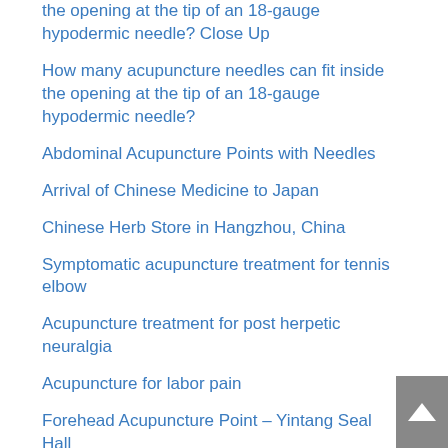the opening at the tip of an 18-gauge hypodermic needle? Close Up
How many acupuncture needles can fit inside the opening at the tip of an 18-gauge hypodermic needle?
Abdominal Acupuncture Points with Needles
Arrival of Chinese Medicine to Japan
Chinese Herb Store in Hangzhou, China
Symptomatic acupuncture treatment for tennis elbow
Acupuncture treatment for post herpetic neuralgia
Acupuncture for labor pain
Forehead Acupuncture Point – Yintang Seal Hall
Moxa Manufacturing Process in Japan